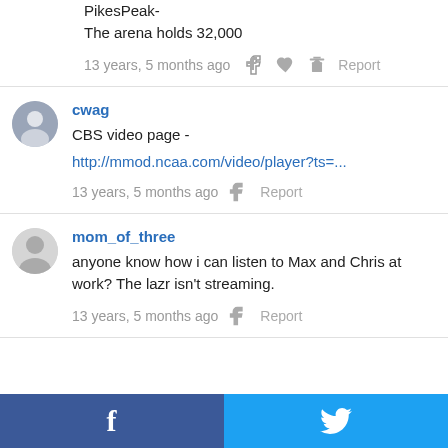PikesPeak-
The arena holds 32,000
13 years, 5 months ago   Report
cwag
CBS video page -
http://mmod.ncaa.com/video/player?ts=...
13 years, 5 months ago   Report
mom_of_three
anyone know how i can listen to Max and Chris at work? The lazr isn't streaming.
13 years, 5 months ago   Report
[Figure (other): Social sharing bar with Facebook and Twitter buttons at the bottom of the page]